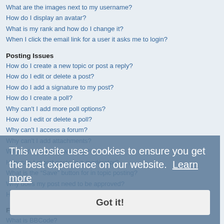What are the images next to my username?
How do I display an avatar?
What is my rank and how do I change it?
When I click the email link for a user it asks me to login?
Posting Issues
How do I create a new topic or post a reply?
How do I edit or delete a post?
How do I add a signature to my post?
How do I create a poll?
Why can't I add more poll options?
How do I edit or delete a poll?
Why can't I access a forum?
Why can't I add attachments?
Why did I receive a warning?
How can I report posts to a moderator?
What is the “Save” button for in topic posting?
Why does my post need to be approved?
How do I bump my topic?
Formatting and Topic Types
What is BBCode?
Can I use HTML?
What are Smilies?
Can I post images?
What are global announcements?
What are announcements?
What are sticky topics?
This website uses cookies to ensure you get the best experience on our website. Learn more
Got it!